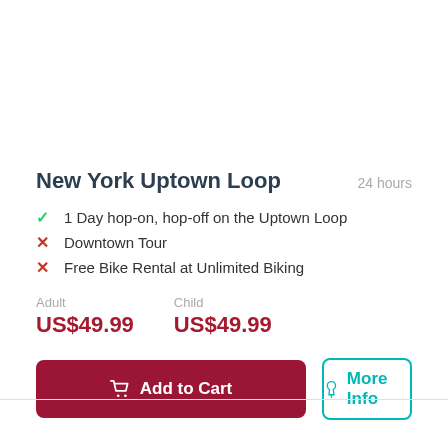New York Uptown Loop
24 hours
1 Day hop-on, hop-off on the Uptown Loop
Downtown Tour
Free Bike Rental at Unlimited Biking
Adult US$49.99   Child US$49.99
Add to Cart
More Info